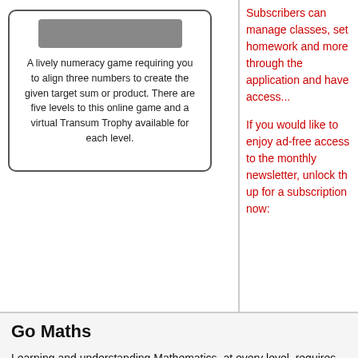A lively numeracy game requiring you to align three numbers to create the given target sum or product. There are five levels to this online game and a virtual Transum Trophy available for each level.
Subscribers can manage classes, set homework and more through the application and have access...
If you would like to enjoy ad-free access to the thousands of Transum worksheets, the monthly newsletter, unlock the learning platform and more, please sign up for a subscription now:
Go Maths
Learning and understanding Mathematics, at every level, requires learning and understanding of traditional teaching fails to actively involve students. One way to address this is to use games. This web site provides many of those. The Go Maths page is an alphabetical list of free maths activities at school.
Maths Map
Are you looking for something specific? An exercise to supplement the topic you are studying at school? Visit using our Maths Map to find exercises, puzzles and Maths lesson starters grouped by topic.
Teachers